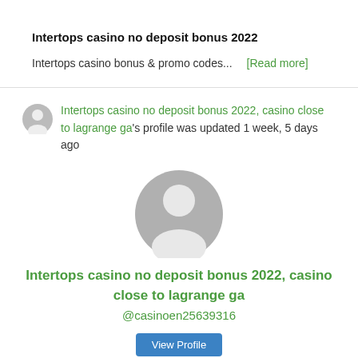Intertops casino no deposit bonus 2022
Intertops casino bonus & promo codes...   [Read more]
Intertops casino no deposit bonus 2022, casino close to lagrange ga's profile was updated 1 week, 5 days ago
[Figure (illustration): Large gray default user avatar/profile icon]
Intertops casino no deposit bonus 2022, casino close to lagrange ga
@casinoen25639316